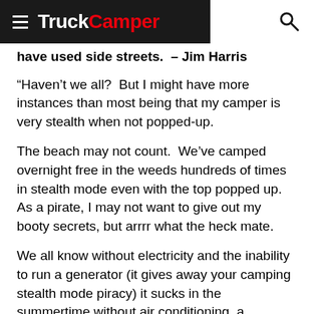TruckCamper
have used side streets.  – Jim Harris
“Haven’t we all?  But I might have more instances than most being that my camper is very stealth when not popped-up.
The beach may not count.  We’ve camped overnight free in the weeds hundreds of times in stealth mode even with the top popped up.  As a pirate, I may not want to give out my booty secrets, but arrrr what the heck mate.
We all know without electricity and the inability to run a generator (it gives away your camping stealth mode piracy) it sucks in the summertime without air conditioning, a television, and battery charging abilities.  So what we do to keep it stealth, is marinas.